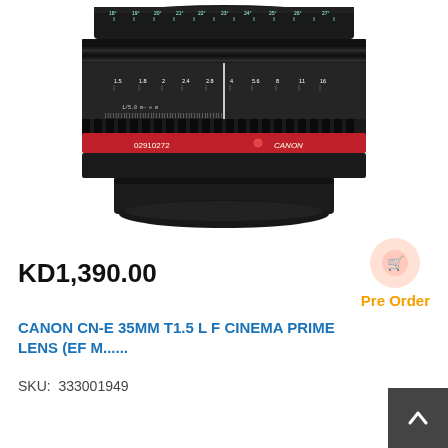[Figure (photo): Canon CN-E 35mm cinema prime lens photographed from the front/bottom angle, showing the black lens barrel with gear rings, focus markings in white and green, a red ring near the mount, and the Canon logo. The lens mount is visible at the bottom.]
KD1,390.00
Pre Order
CANON CN-E 35MM T1.5 L F CINEMA PRIME LENS (EF M......
SKU:  333001949